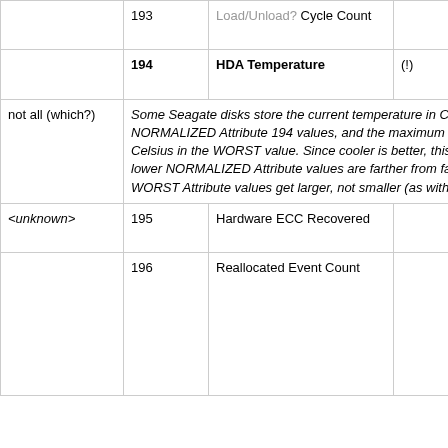| (col1) | ID | Name | Flag | Description |
| --- | --- | --- | --- | --- |
|  | 193 | Load/Unload? Cycle Count |  | Number of cycles in Landing Zone position... |
|  | 194 | HDA Temperature | (!) | Temperature of a Hard Disk Assembly... |
| not all (which?) |  | Some Seagate disks store the current temperature in Celsius in both the RAW and NORMALIZED Attribute 194 values, and the maximum lifetime temperature in Celsius in the WORST value. Since cooler is better, this means that in this case, lower NORMALIZED Attribute values are farther from failure, and that over time the WORST Attribute values get larger, not smaller (as with other Attributes). |  |  |
| <unknown> | 195 | Hardware ECC Recovered |  | Frequency of the on the fly errors. |
|  | 196 | Reallocated Event Count |  | Number of remap operations. That means replacing bad sectors by one from the spare... |